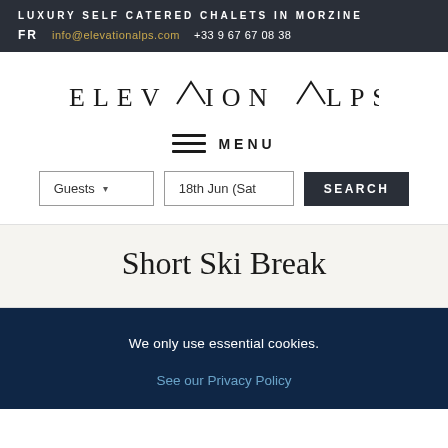LUXURY SELF CATERED CHALETS IN MORZINE
FR  info@elevationalps.com  +33 9 67 67 08 38
ELEVATION ALPS
≡ MENU
Guests  ▾  18th Jun (Sat  SEARCH
Short Ski Break
We only use essential cookies.
See our Privacy Policy